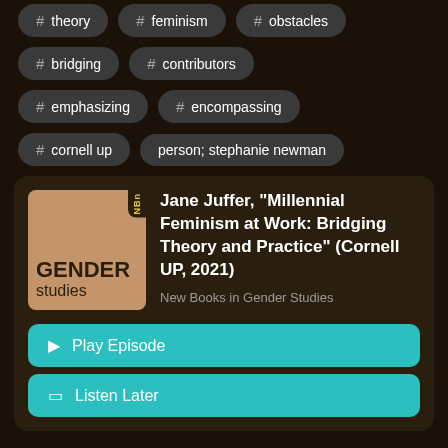# theory
# feminism
# obstacles
# bridging
# contributors
# emphasizing
# encompassing
# cornell up
stephanie newman
Jane Juffer, "Millennial Feminism at Work: Bridging Theory and Practice" (Cornell UP, 2021)
New Books in Gender Studies
Play Episode
Listen Later